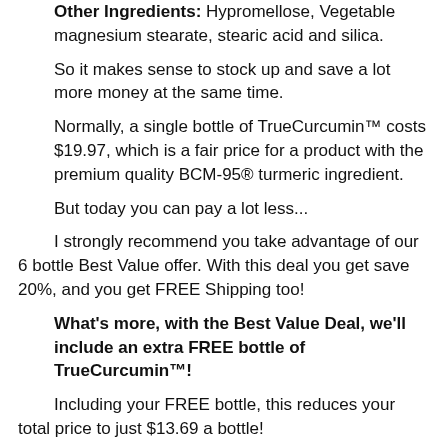Other Ingredients: Hypromellose, Vegetable magnesium stearate, stearic acid and silica.
So it makes sense to stock up and save a lot more money at the same time.
Normally, a single bottle of TrueCurcumin™ costs $19.97, which is a fair price for a product with the premium quality BCM-95® turmeric ingredient.
But today you can pay a lot less...
I strongly recommend you take advantage of our 6 bottle Best Value offer. With this deal you get save 20%, and you get FREE Shipping too!
What's more, with the Best Value Deal, we'll include an extra FREE bottle of TrueCurcumin™!
Including your FREE bottle, this reduces your total price to just $13.69 a bottle!